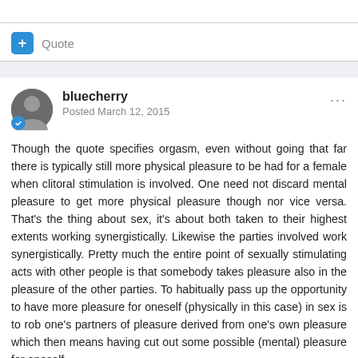Quote
bluecherry
Posted March 12, 2015
Though the quote specifies orgasm, even without going that far there is typically still more physical pleasure to be had for a female when clitoral stimulation is involved. One need not discard mental pleasure to get more physical pleasure though nor vice versa. That's the thing about sex, it's about both taken to their highest extents working synergistically. Likewise the parties involved work synergistically. Pretty much the entire point of sexually stimulating acts with other people is that somebody takes pleasure also in the pleasure of the other parties. To habitually pass up the opportunity to have more pleasure for oneself (physically in this case) in sex is to rob one's partners of pleasure derived from one's own pleasure which then means having cut out some possible (mental) pleasure for oneself